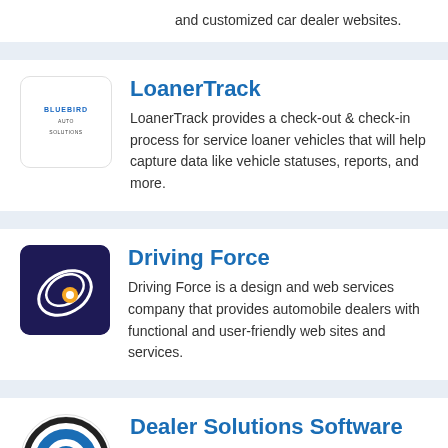and customized car dealer websites.
[Figure (logo): Bluebird Auto Solutions logo — white background with rounded border, text reads BLUEBIRD AUTO SOLUTIONS in small blue/dark letters]
LoanerTrack
LoanerTrack provides a check-out & check-in process for service loaner vehicles that will help capture data like vehicle statuses, reports, and more.
[Figure (logo): Driving Force logo — dark navy/purple square with rounded corners, stylized white and orange swirl/spiral icon]
Driving Force
Driving Force is a design and web services company that provides automobile dealers with functional and user-friendly web sites and services.
[Figure (logo): Dealer Solutions Software logo — circular target/bullseye icon with dark outer ring, white ring, and blue center circle]
Dealer Solutions Software
Car dealer software that combines the best in Dealer Software, Dealership Websites, Inventory Data Feeds